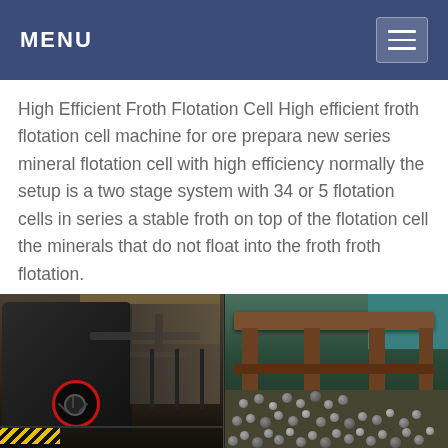MENU
High Efficient Froth Flotation Cell High efficient froth flotation cell machine for ore prepara new series mineral flotation cell with high efficiency normally the setup is a two stage system with 34 or 5 flotation cells in series a stable froth on top of the flotation cell the minerals that do not float into the froth froth flotation.
[Figure (photo): Two industrial photos side by side: left shows a large black mining/flotation machine with a red-circled wheel component and yellow-black warning stripes on the floor; right shows an industrial table or sieving equipment with round pellets (ore balls) on a surface below.]